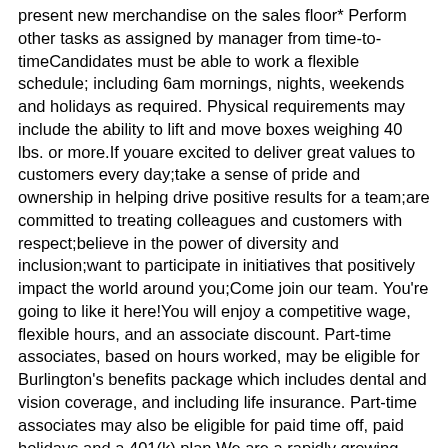present new merchandise on the sales floor* Perform other tasks as assigned by manager from time-to-timeCandidates must be able to work a flexible schedule; including 6am mornings, nights, weekends and holidays as required. Physical requirements may include the ability to lift and move boxes weighing 40 lbs. or more.If youare excited to deliver great values to customers every day;take a sense of pride and ownership in helping drive positive results for a team;are committed to treating colleagues and customers with respect;believe in the power of diversity and inclusion;want to participate in initiatives that positively impact the world around you;Come join our team. You're going to like it here!You will enjoy a competitive wage, flexible hours, and an associate discount. Part-time associates, based on hours worked, may be eligible for Burlington's benefits package which includes dental and vision coverage, and including life insurance. Part-time associates may also be eligible for paid time off, paid holidays and a 401(k) plan.We are a rapidly growing brand, and provide a variety of training and development opportunities so our associates can grow with us. Our store teams work hard and have fun together! Burlington associates make a difference in the lives of customers, colleagues, and the communities where we live and work every day. Burlington Stores, Inc. is an equal opportunity employer